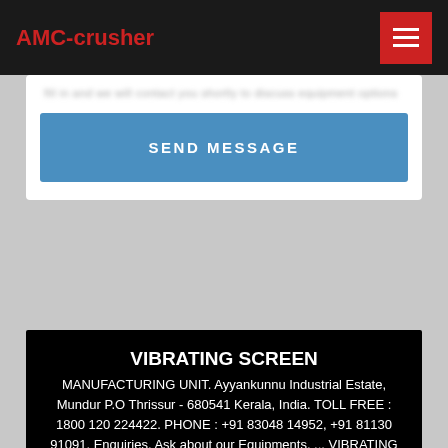AMC-crusher
SEND MESSAGE
VIBRATING SCREEN
MANUFACTURING UNIT. Ayyankunnu Industrial Estate, Mundur P.O Thrissur - 680541 Kerala, India. TOLL FREE : 1800 120 224422. PHONE : +91 83048 14952, +91 81130 91091. Enquiries. Ask about our Equipments. ... VIBRATING SCREEN WASHING SOLUTION FEEDIES ...Mining Vibrating Screen - winnermanufacturing 2022-1-20 · The Mining Vibrating Screen of Winner Group is Mainly Used for Screening